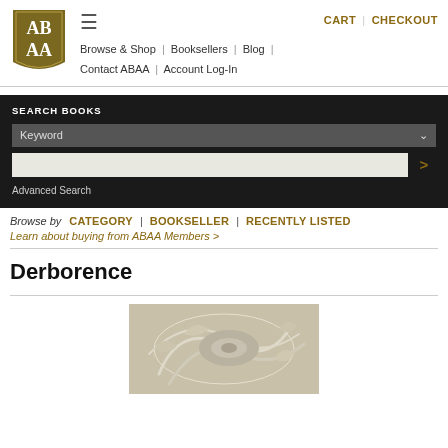[Figure (logo): ABAA logo - gold/olive shield shape with AB AA text in white]
CART | CHECKOUT
Browse & Shop | Booksellers | Blog | Contact ABAA | Account Log-In
SEARCH BOOKS
Keyword
Advanced Search
Browse by  CATEGORY | BOOKSELLER | RECENTLY LISTED
Learn about buying from ABAA Members >
Derborence
[Figure (illustration): Book cover illustration with beige/tan art nouveau style decorative design showing curved organic forms]